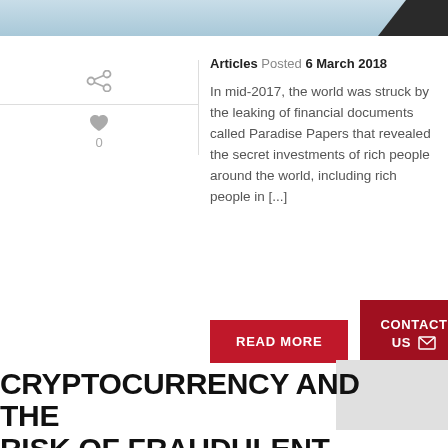[Figure (photo): Top banner image with light blue gradient and dark corner element]
Articles Posted 6 March 2018
In mid-2017, the world was struck by the leaking of financial documents called Paradise Papers that revealed the secret investments of rich people around the world, including rich people in [...]
READ MORE
CONTACT US
CRYPTOCURRENCY AND THE RISK OF FRAUDULENT ACTS
[Figure (photo): Dark background with glowing yellow-green circular cryptocurrency/tech diagram]